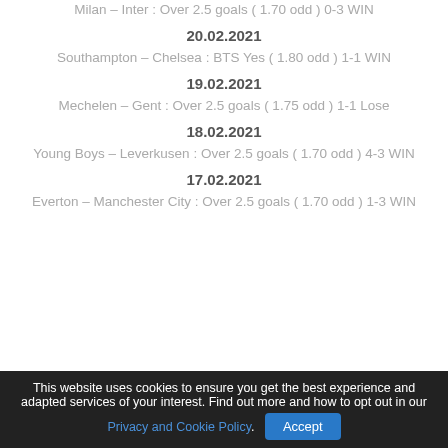Milan – Inter : Over 2.5 goals ( 1.70 odd ) 0-3 WIN
20.02.2021
Southampton – Chelsea : BTS Yes ( 1.80 odd ) 1-1 WIN
19.02.2021
Mechelen – Gent : Over 2.5 goals ( 1.75 odd ) 1-1 Lose
18.02.2021
Young Boys – Leverkusen : Over 2.5 goals ( 1.70 odd ) 4-3 WIN
17.02.2021
Everton – Manchester City : Over 2.5 goals ( 1.70 odd ) 1-3 WIN
This website uses cookies to ensure you get the best experience and adapted services of your interest. Find out more and how to opt out in our Privacy and Cookie Policy.